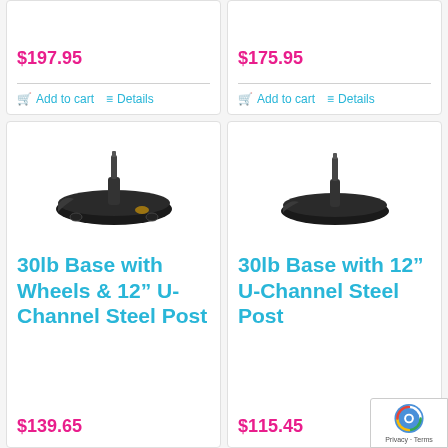$197.95
Add to cart
Details
$175.95
Add to cart
Details
[Figure (photo): 30lb base with wheels and 12 U-Channel steel post, black rubber base with small post]
30lb Base with Wheels & 12" U-Channel Steel Post
$139.65
[Figure (photo): 30lb base with 12 U-Channel steel post, round black rubber base with small post]
30lb Base with 12" U-Channel Steel Post
$115.45